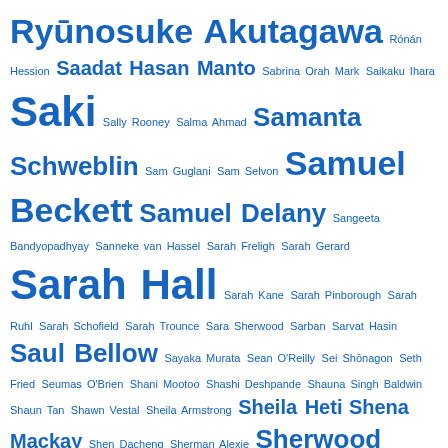Ryūnosuke Akutagawa Rónán Hession Saadat Hasan Manto Sabrina Orah Mark Saikaku Ihara Saki Sally Rooney Salma Ahmad Samanta Schweblin Sam Guglani Sam Selvon Samuel Beckett Samuel Delany Sangeeta Bandyopadhyay Sanneke van Hassel Sarah Freligh Sarah Gerard Sarah Hall Sarah Kane Sarah Pinborough Sarah Ruhl Sarah Schofield Sarah Trounce Sara Sherwood Sarban Sarvat Hasin Saul Bellow Sayaka Murata Sean O'Reilly Sei Shōnagon Seth Fried Seumas O'Brien Shani Mootoo Shashi Deshpande Shauna Singh Baldwin Shaun Tan Shawn Vestal Sheila Armstrong Sheila Heti Shena Mackay Shen Dacheng Sherman Alexie Sherwood Anderson Shinichi Hoshi Shirley Hazzard Shirley Jackson Sigfried Giedion Sigizmund Krzhizhanovsky Sigmund Freud Silvina Ocampo Simon Crump Simon Rich Sindya Bhanoo Sinead O'Connor Slawomir Mrozek Sofia Samatar Sophia de Mello Breyner Andresen Sophie Mackintosh Stanisław Lem Stefanie Freele Stephanie Vaughn Stephen Elliot Vickers Stephen Gallagher Stephen King Stephen Millhauser Stephen Volk (as writer) Stephen Walsh Steve Aylett Steven Millhauser Sting Stuart Dybek Stuart